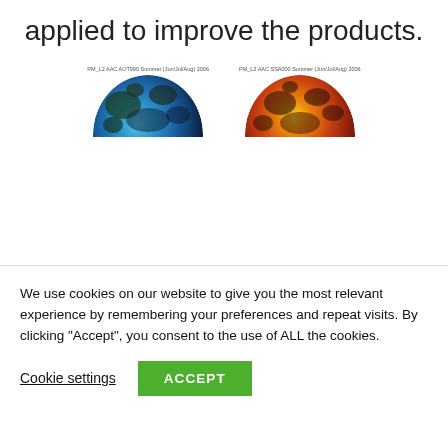applied to improve the products.
[Figure (illustration): Two hemisphere globe images side by side. Left globe labeled 'PM_L2 AAC AOT990 Summer (Jun/Jul/Aug) 2006' showing blue/teal false-color aerosol data. Right globe labeled 'PM_L2 AAC SSA000 Summer (Jun/Jul/Aug) 2006' showing orange/red false-color aerosol data. Only the upper half-dome of each globe is visible.]
We use cookies on our website to give you the most relevant experience by remembering your preferences and repeat visits. By clicking “Accept”, you consent to the use of ALL the cookies.
Cookie settings
ACCEPT